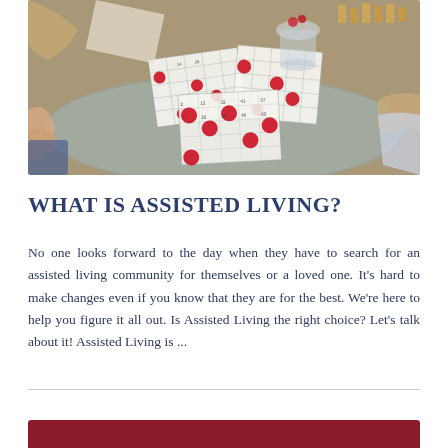[Figure (photo): Group of elderly people playing bingo around a glass table, hands visible holding bingo cards with red markers, bingo card sheets spread on the table]
WHAT IS ASSISTED LIVING?
No one looks forward to the day when they have to search for an assisted living community for themselves or a loved one. It's hard to make changes even if you know that they are for the best. We're here to help you figure it all out. Is Assisted Living the right choice? Let's talk about it! Assisted Living is ...